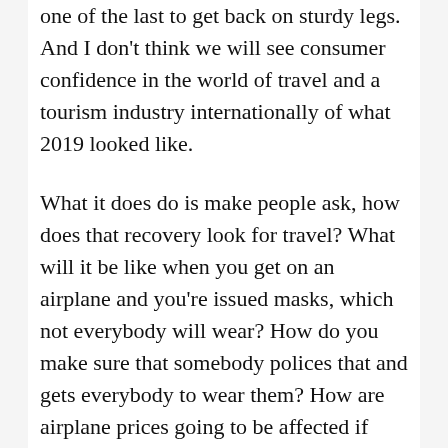one of the last to get back on sturdy legs. And I don't think we will see consumer confidence in the world of travel and a tourism industry internationally of what 2019 looked like.
What it does do is make people ask, how does that recovery look for travel? What will it be like when you get on an airplane and you're issued masks, which not everybody will wear? How do you make sure that somebody polices that and gets everybody to wear them? How are airplane prices going to be affected if they're leaving the middle seats empty?
What happens when you arrive in a country and they ask you to self-quarantine for a bit? You're